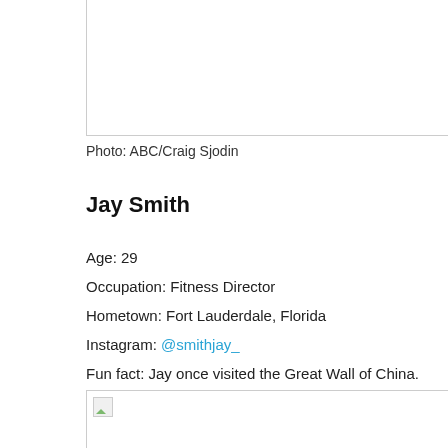[Figure (photo): Top photo box, cropped/partial image area with left and bottom border]
Photo: ABC/Craig Sjodin
Jay Smith
Age: 29
Occupation: Fitness Director
Hometown: Fort Lauderdale, Florida
Instagram: @smithjay_
Fun fact: Jay once visited the Great Wall of China.
[Figure (photo): Bottom photo box, partial/cropped image area with border and broken image icon]